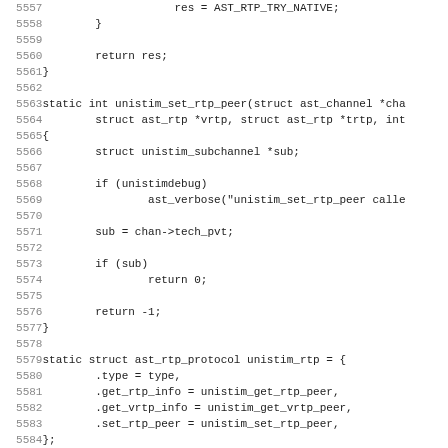[Figure (screenshot): Source code listing in monospace font showing C code for unistim RTP peer functions, lines 5557-5588, including function definitions for unistim_set_rtp_peer and struct ast_rtp_protocol initialization, and the beginning of load_module.]